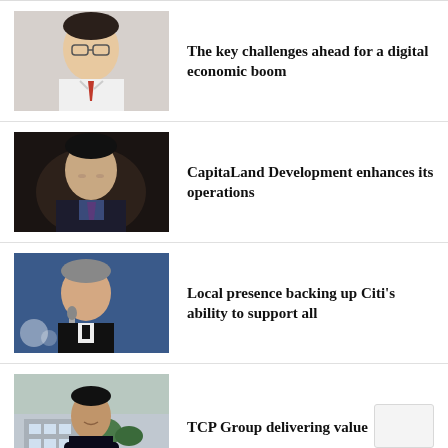[Figure (photo): Portrait of an Asian man in glasses and suit with red tie, smiling, light background]
The key challenges ahead for a digital economic boom
[Figure (photo): Portrait of an Asian man in dark suit smiling, dark background]
CapitaLand Development enhances its operations
[Figure (photo): Portrait of a Western man speaking at microphone, blue background]
Local presence backing up Citi's ability to support all
[Figure (photo): Portrait of an Asian man in dark suit with arms crossed, standing in front of a building]
TCP Group delivering value